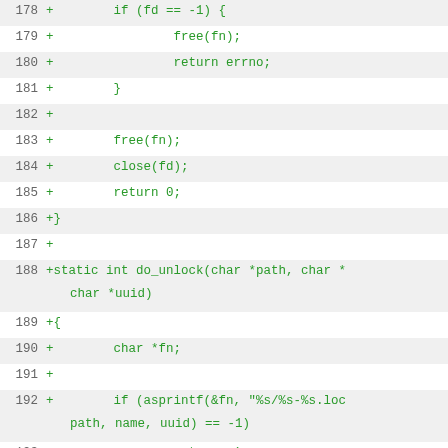[Figure (screenshot): Code diff view showing lines 178-196 of a C source file with added lines marked with '+' in green, on alternating light gray and white row backgrounds. Lines show a do_unlock function implementation.]